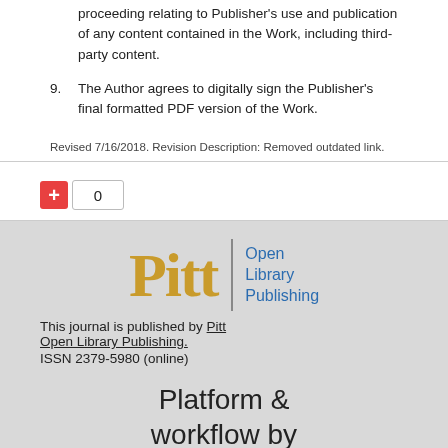proceeding relating to Publisher's use and publication of any content contained in the Work, including third-party content.
9. The Author agrees to digitally sign the Publisher's final formatted PDF version of the Work.
Revised 7/16/2018. Revision Description: Removed outdated link.
[Figure (other): Vote/like button showing a red plus button and a count of 0]
This journal is published by Pitt Open Library Publishing. ISSN 2379-5980 (online)
[Figure (logo): Pitt Open Library Publishing logo with gold Pitt wordmark and blue Open Library Publishing text]
Platform & workflow by